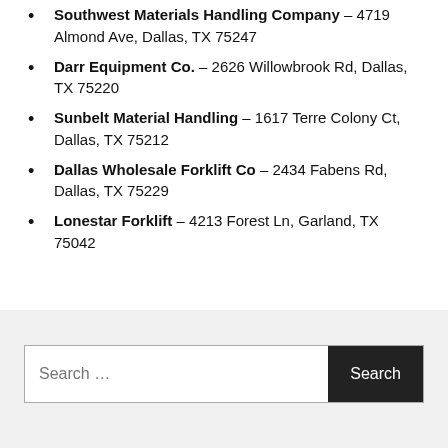Southwest Materials Handling Company – 4719 Almond Ave, Dallas, TX 75247
Darr Equipment Co. – 2626 Willowbrook Rd, Dallas, TX 75220
Sunbelt Material Handling – 1617 Terre Colony Ct, Dallas, TX 75212
Dallas Wholesale Forklift Co – 2434 Fabens Rd, Dallas, TX 75229
Lonestar Forklift – 4213 Forest Ln, Garland, TX 75042